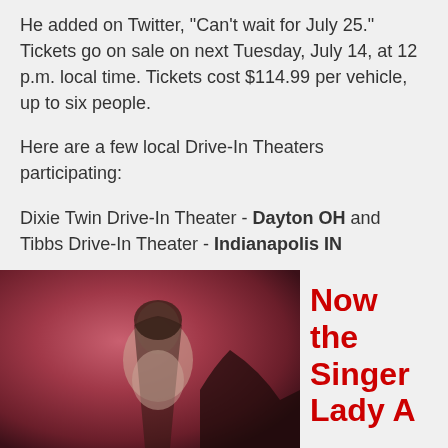He added on Twitter, "Can't wait for July 25." Tickets go on sale on next Tuesday, July 14, at 12 p.m. local time. Tickets cost $114.99 per vehicle, up to six people.
Here are a few local Drive-In Theaters participating:
Dixie Twin Drive-In Theater - Dayton OH and Tibbs Drive-In Theater - Indianapolis IN
Full list here.
[Figure (photo): Photo of a woman with dark hair against a red/maroon background, partially visible, cropped at bottom of page]
Now the Singer Lady A